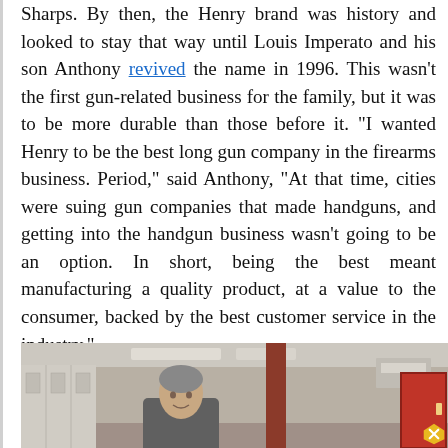Sharps. By then, the Henry brand was history and looked to stay that way until Louis Imperato and his son Anthony revived the name in 1996. This wasn't the first gun-related business for the family, but it was to be more durable than those before it. "I wanted Henry to be the best long gun company in the firearms business. Period," said Anthony, "At that time, cities were suing gun companies that made handguns, and getting into the handgun business wasn't going to be an option. In short, being the best meant manufacturing a quality product, at a value to the consumer, backed by the best customer service in the industry."
[Figure (photo): Photo of a person (Anthony Imperato) standing in what appears to be a manufacturing facility or shop floor, with lockers on the left, a red support pillar in the center-background, and a red door on the right.]